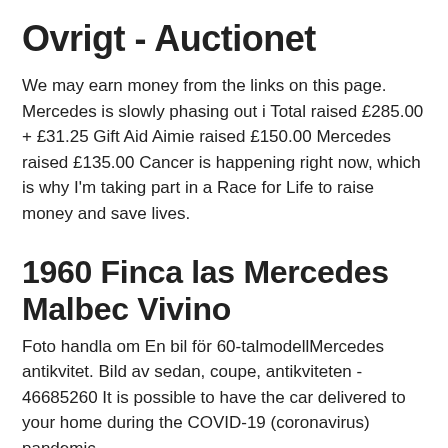Ovrigt - Auctionet
We may earn money from the links on this page. Mercedes is slowly phasing out i Total raised £285.00 + £31.25 Gift Aid Aimie raised £150.00 Mercedes raised £135.00 Cancer is happening right now, which is why I'm taking part in a Race for Life to raise money and save lives.
1960 Finca las Mercedes Malbec Vivino
Foto handla om En bil för 60-talmodellMercedes antikvitet. Bild av sedan, coupe, antikviteten - 46685260 It is possible to have the car delivered to your home during the COVID-19 (coronavirus) pandemic.